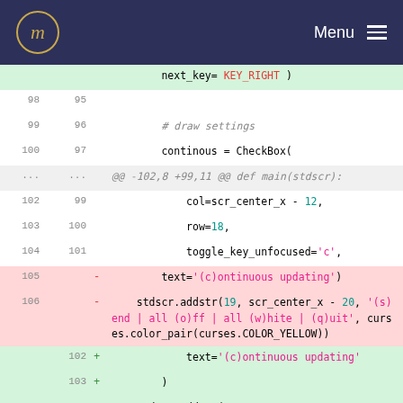Menu
[Figure (screenshot): Code diff view showing Python source lines 98-106 with removed lines (red background) and added lines (green background). Shows changes to text parameters in a curses-based UI.]